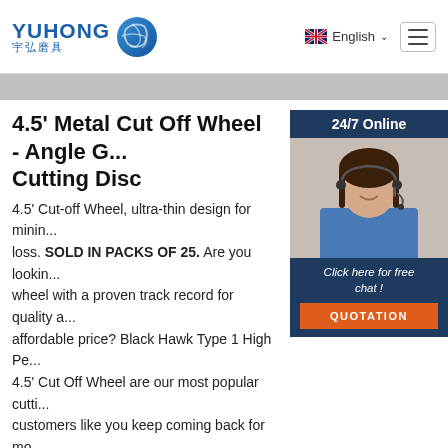YUHONG 宇弘磨具 | English | Navigation
4.5' Metal Cut Off Wheel - Angle G... Cutting Disc
4.5' Cut-off Wheel, ultra-thin design for minin... loss. SOLD IN PACKS OF 25. Are you lookin... wheel with a proven track record for quality a... affordable price? Black Hawk Type 1 High Pe... 4.5' Cut Off Wheel are our most popular cutti... customers like you keep coming back for mo... reputation for ...
[Figure (photo): Customer service representative with headset, 24/7 Online chat widget with QUOTATION button]
Click here for free chat !
QUOTATION
[Figure (illustration): TOP scroll-to-top button with orange dots arc icon]
[Figure (photo): Bottom partial image of a metal cut off wheel/disc]